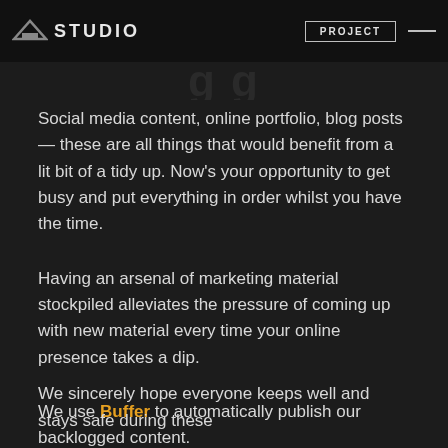STUDIO  PROJECT
Social media content, online portfolio, blog posts — these are all things that would benefit from a lit bit of a tidy up. Now's your opportunity to get busy and put everything in order whilst you have the time.
Having an arsenal of marketing material stockpiled alleviates the pressure of coming up with new material every time your online presence takes a dip.
We use Buffer to automatically publish our backlogged content.
We sincerely hope everyone keeps well and stays safe during these